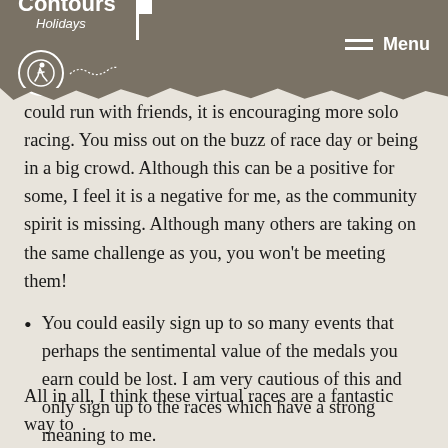Contours Holidays | Menu
could run with friends, it is encouraging more solo racing. You miss out on the buzz of race day or being in a big crowd. Although this can be a positive for some, I feel it is a negative for me, as the community spirit is missing. Although many others are taking on the same challenge as you, you won't be meeting them!
You could easily sign up to so many events that perhaps the sentimental value of the medals you earn could be lost. I am very cautious of this and only sign up to the races which have a strong meaning to me.
All in all, I think these virtual races are a fantastic way to